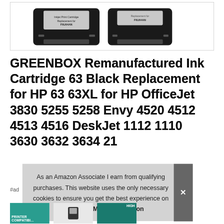[Figure (photo): Two black HP 63 remanufactured inkjet print cartridges (Replacement for F6U64AN) shown side by side in a white bordered product image box.]
GREENBOX Remanufactured Ink Cartridge 63 Black Replacement for HP 63 63XL for HP OfficeJet 3830 5255 5258 Envy 4520 4512 4513 4516 DeskJet 1112 1110 3630 3632 3634 2130 2132 Printer 2 Black
As an Amazon Associate I earn from qualifying purchases. This website uses the only necessary cookies to ensure you get the best experience on our website. More information
#ad
[Figure (screenshot): Three product thumbnail images at the bottom of the page, partially cut off.]